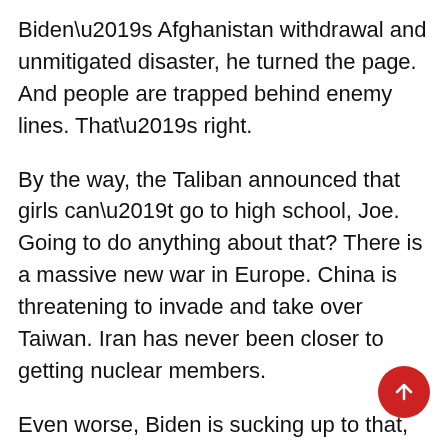Biden’s Afghanistan withdrawal and unmitigated disaster, he turned the page. And people are trapped behind enemy lines. That’s right.
By the way, the Taliban announced that girls can’t go to high school, Joe. Going to do anything about that? There is a massive new war in Europe. China is threatening to invade and take over Taiwan. Iran has never been closer to getting nuclear members.
Even worse, Biden is sucking up to that, how humiliating to this country, the mullahs in Iran, he sucking up to the murdering thug dictator of Venezuela. He’s begging over and over even though he keeps getting rejected, OPEC to produce more oil. But according to Joe, America back and better than ever. Joe Biden is delusional.